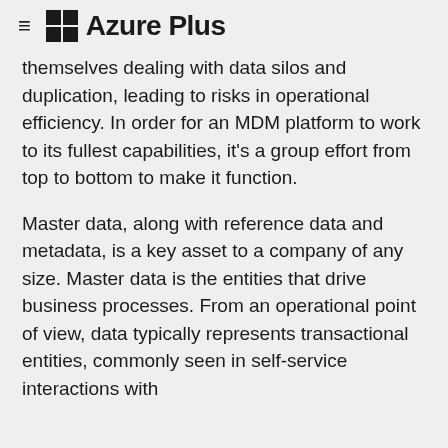≡  Azure Plus
themselves dealing with data silos and duplication, leading to risks in operational efficiency. In order for an MDM platform to work to its fullest capabilities, it's a group effort from top to bottom to make it function.
Master data, along with reference data and metadata, is a key asset to a company of any size. Master data is the entities that drive business processes. From an operational point of view, data typically represents transactional entities, commonly seen in self-service interactions with